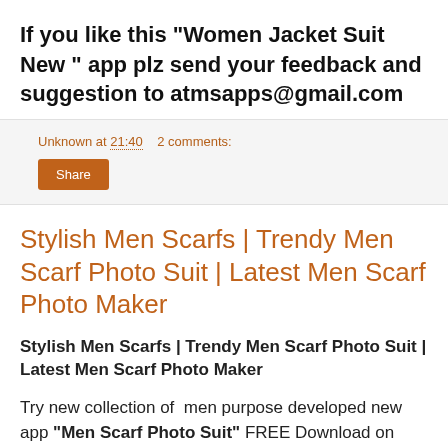If you like this "Women Jacket Suit New " app plz send your feedback and suggestion to atmsapps@gmail.com
Unknown at 21:40   2 comments:
Share
Stylish Men Scarfs | Trendy Men Scarf Photo Suit | Latest Men Scarf Photo Maker
Stylish Men Scarfs | Trendy Men Scarf Photo Suit | Latest Men Scarf Photo Maker
Try new collection of  men purpose developed new app "Men Scarf Photo Suit" FREE Download on